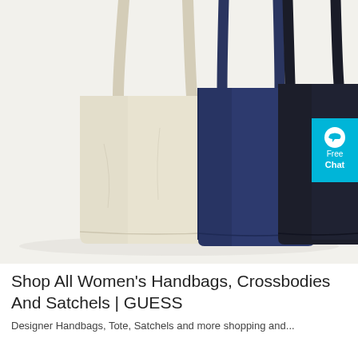[Figure (photo): Three tote bags displayed side by side: a cream/natural colored bag on the left, a navy blue bag in the middle, and a dark navy/charcoal bag on the right. All bags have long shoulder straps. Background is light gray/white.]
Shop All Women's Handbags, Crossbodies And Satchels | GUESS
Designer Handbags, Tote, Satchels and more shopping and...